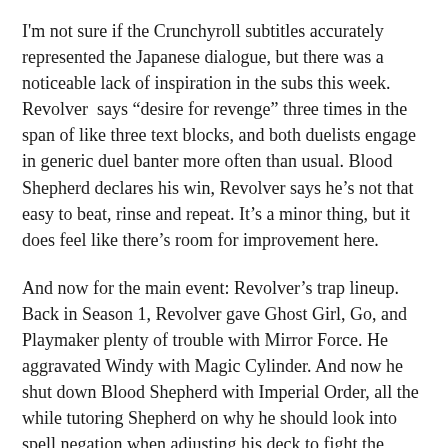I'm not sure if the Crunchyroll subtitles accurately represented the Japanese dialogue, but there was a noticeable lack of inspiration in the subs this week. Revolver says “desire for revenge” three times in the span of like three text blocks, and both duelists engage in generic duel banter more often than usual. Blood Shepherd declares his win, Revolver says he’s not that easy to beat, rinse and repeat. It’s a minor thing, but it does feel like there’s room for improvement here.
And now for the main event: Revolver’s trap lineup. Back in Season 1, Revolver gave Ghost Girl, Go, and Playmaker plenty of trouble with Mirror Force. He aggravated Windy with Magic Cylinder. And now he shut down Blood Shepherd with Imperial Order, all the while tutoring Shepherd on why he should look into spell negation when adjusting his deck to fight the Ignis. Though I can’t help but feel Shepherd should have already known about the Link Spells at this point given his hacking ability. Despite Ghost Girl’s use of Infinite Impermanence last week, Revolver remains the champion of